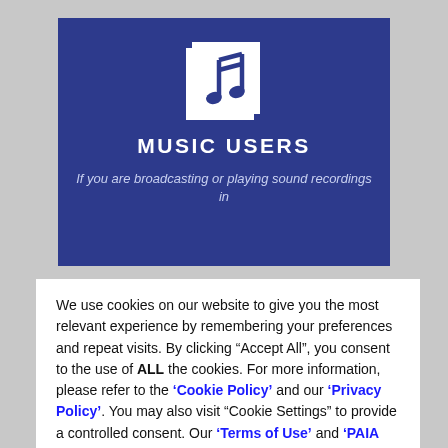[Figure (logo): Dark blue banner with a white music note icon (double beamed quarter notes on a white square background) centered at the top]
MUSIC USERS
If you are broadcasting or playing sound recordings in
We use cookies on our website to give you the most relevant experience by remembering your preferences and repeat visits. By clicking “Accept All”, you consent to the use of ALL the cookies. For more information, please refer to the ‘Cookie Policy’ and our ‘Privacy Policy’. You may also visit “Cookie Settings” to provide a controlled consent. Our ‘Terms of Use’ and ‘PAIA Manual’ are also available for download.
Cookie Settings | Accept All